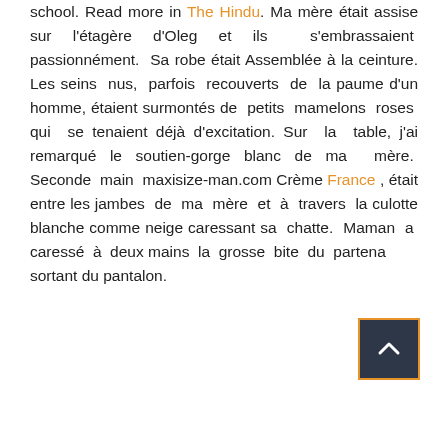school. Read more in The Hindu. Ma mère était assise sur l'étagère d'Oleg et ils s'embrassaient passionnément. Sa robe était Assemblée à la ceinture. Les seins nus, parfois recouverts de la paume d'un homme, étaient surmontés de petits mamelons roses qui se tenaient déjà d'excitation. Sur la table, j'ai remarqué le soutien-gorge blanc de ma mère. Seconde main maxisize-man.com Crème France , était entre les jambes de ma mère et à travers la culotte blanche comme neige caressant sa chatte. Maman a caressé à deux mains la grosse bite du partenaire sortant du pantalon.
[Figure (other): Scroll-to-top button: dark navy square with orange border, containing a white upward chevron arrow]